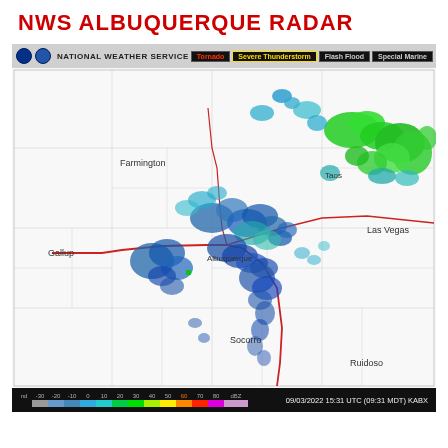NWS ALBUQUERQUE RADAR
[Figure (map): NWS Albuquerque radar map showing precipitation returns over New Mexico on 09/03/2022 at 15:31 UTC (09:31 MDT). The map shows scattered blue and green radar echoes indicating precipitation over the Albuquerque area and northern New Mexico, with heavier green returns in the northeast. Cities labeled include Farmington, Gallup, Las Vegas, Albuquerque, Socorro, and Ruidoso. A radar color bar at the bottom shows dBZ scale from nd to 80 dBZ. Timestamp: 09/03/2022 15:31 UTC (09:31 MDT) KABX.]